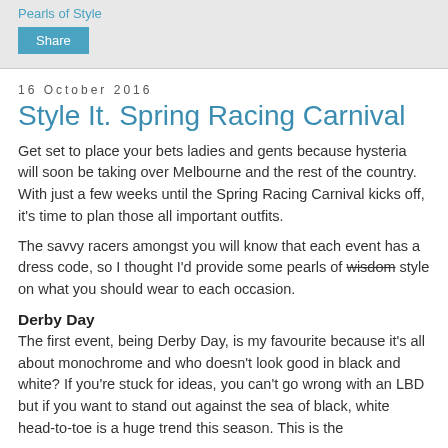Pearls of Style
Share
16 October 2016
Style It. Spring Racing Carnival
Get set to place your bets ladies and gents because hysteria will soon be taking over Melbourne and the rest of the country. With just a few weeks until the Spring Racing Carnival kicks off, it's time to plan those all important outfits.
The savvy racers amongst you will know that each event has a dress code, so I thought I'd provide some pearls of wisdom style on what you should wear to each occasion.
Derby Day
The first event, being Derby Day, is my favourite because it's all about monochrome and who doesn't look good in black and white? If you're stuck for ideas, you can't go wrong with an LBD but if you want to stand out against the sea of black, white head-to-toe is a huge trend this season. This is the